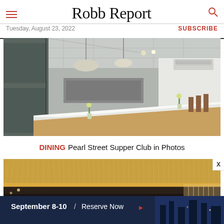Robb Report — Tuesday, August 23, 2022
[Figure (photo): Interior photo of Pearl Street Supper Club kitchen/dining space with white countertop island, pendant lights, industrial ceiling, and bar seating]
DINING Pearl Street Supper Club in Photos
[Figure (photo): Interior photo of a restaurant with golden wheat/straw ceiling installation and dramatic lighting]
[Figure (photo): Advertisement banner: September 8-10 / Reserve Now with cityscape background]